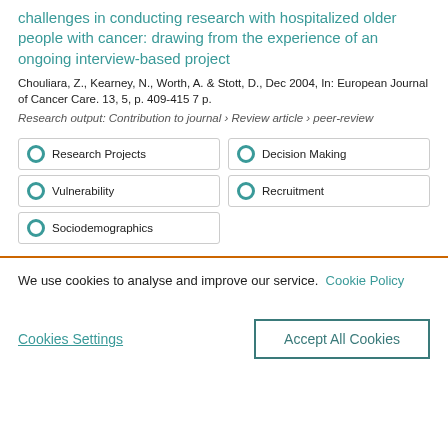challenges in conducting research with hospitalized older people with cancer: drawing from the experience of an ongoing interview-based project
Chouliara, Z., Kearney, N., Worth, A. & Stott, D., Dec 2004, In: European Journal of Cancer Care. 13, 5, p. 409-415 7 p.
Research output: Contribution to journal › Review article › peer-review
Research Projects | Decision Making | Vulnerability | Recruitment | Sociodemographics
We use cookies to analyse and improve our service. Cookie Policy
Cookies Settings
Accept All Cookies